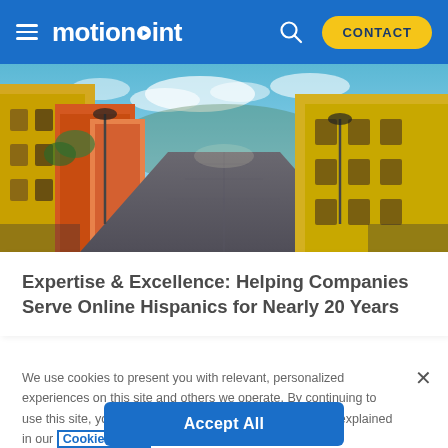motionpoint — CONTACT
[Figure (photo): Colorful colonial street scene with yellow and colorful buildings under blue sky]
Expertise & Excellence: Helping Companies Serve Online Hispanics for Nearly 20 Years
We use cookies to present you with relevant, personalized experiences on this site and others we operate. By continuing to use this site, you are giving us your consent to do this as explained in our Cookie Policy
Accept All